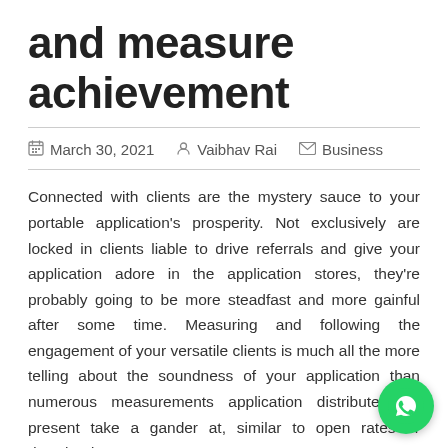and measure achievement
March 30, 2021   Vaibhav Rai   Business
Connected with clients are the mystery sauce to your portable application's prosperity. Not exclusively are locked in clients liable to drive referrals and give your application adore in the application stores, they're probably going to be more steadfast and more gainful after some time. Measuring and following the engagement of your versatile clients is much all the more telling about the soundness of your application than numerous measurements application distributers at present take a gander at, similar to open rates or downloads.
All things considered, there is no standard definition or recipe for measuring engagement. Engagement must be characterized inside the setting of the objective of your